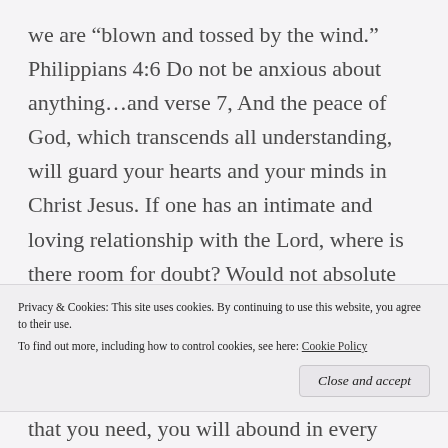we are “blown and tossed by the wind.” Philippians 4:6 Do not be anxious about anything…and verse 7, And the peace of God, which transcends all understanding, will guard your hearts and your minds in Christ Jesus. If one has an intimate and loving relationship with the Lord, where is there room for doubt? Would not absolute faith remove all
Privacy & Cookies: This site uses cookies. By continuing to use this website, you agree to their use.
To find out more, including how to control cookies, see here: Cookie Policy
Close and accept
that you need, you will abound in every